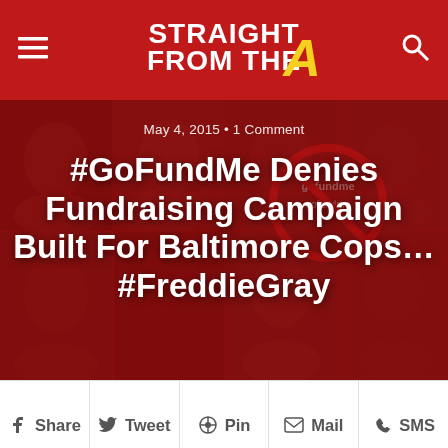Straight From The A
May 4, 2015 • 1 Comment
#GoFundMe Denies Fundraising Campaign Built For Baltimore Cops… #FreddieGray
[Figure (screenshot): Hero image with red-tinted mugshot photos of Baltimore police officers in background, with a GoFundMe logo overlaid with a red circle-slash (denial symbol)]
Share  Tweet  Pin  Mail  SMS